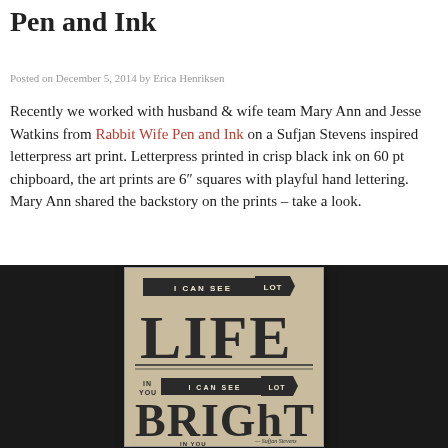Pen and Ink
Posted on December 5, 2014 by Erica Henriksen
Recently we worked with husband & wife team Mary Ann and Jesse Watkins from Rabbit Wife Pen and Ink on a Sufjan Stevens inspired letterpress art print. Letterpress printed in crisp black ink on 60 pt chipboard, the art prints are 6″ squares with playful hand lettering. Mary Ann shared the backstory on the prints – take a look.
[Figure (photo): Letterpress art print on chipboard showing decorative hand lettering with phrases 'I CAN SEE LOT OF LIFE IN YOU' and 'I CAN SEE LOT OF BRIGHT IN YOU' with ornamental typography, photographed against a dark background.]